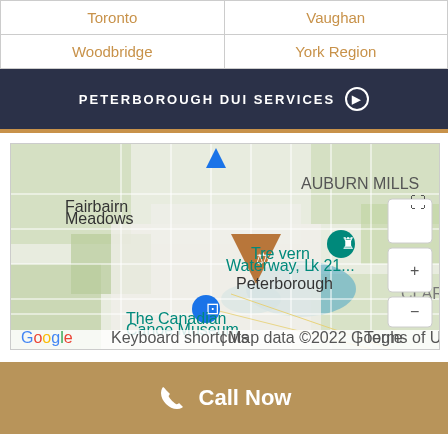| Toronto | Vaughan |
| Woodbridge | York Region |
PETERBOROUGH DUI SERVICES ⊙
[Figure (map): Google Maps showing Peterborough, Ontario area with law firm marker (scales icon in brown triangle), showing Fairbairn Meadows, Auburn Mills, Trent Waterway, The Canadian Canoe Museum, Claraday areas. Map data ©2022 Google.]
Call Now